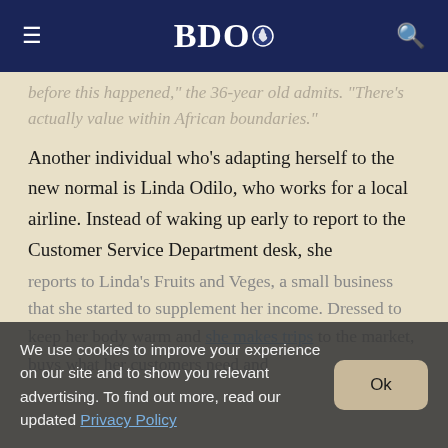BDO
before this happened,” the 36-year old admits. “There’s actually value within African boundaries.”
Another individual who’s adapting herself to the new normal is Linda Odilo, who works for a local airline. Instead of waking up early to report to the Customer Service Department desk, she reports to Linda’s Fruits and Veges, a small business that she started to supplement her income. Dressed to keep her body warm and she makes trips to the market, buys what her customers need and
We use cookies to improve your experience on our site and to show you relevant advertising. To find out more, read our updated Privacy Policy she makes trips to the market, buys what her customers need and